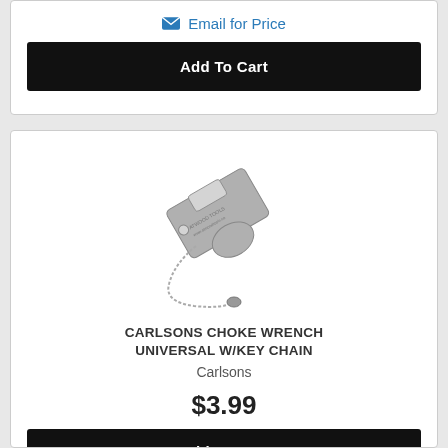Email for Price
Add To Cart
[Figure (photo): Carlsons Choke Wrench Universal with Key Chain - a metal wrench tool with a ball chain keyring attached]
CARLSONS CHOKE WRENCH UNIVERSAL W/KEY CHAIN
Carlsons
$3.99
Add To Cart